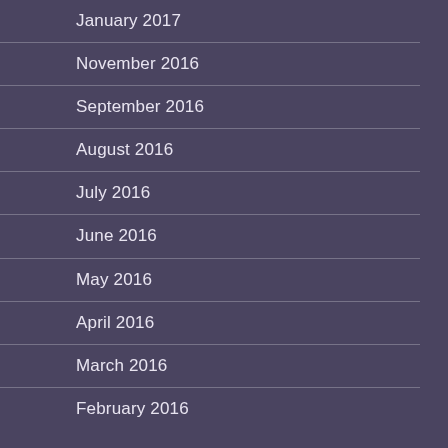January 2017
November 2016
September 2016
August 2016
July 2016
June 2016
May 2016
April 2016
March 2016
February 2016